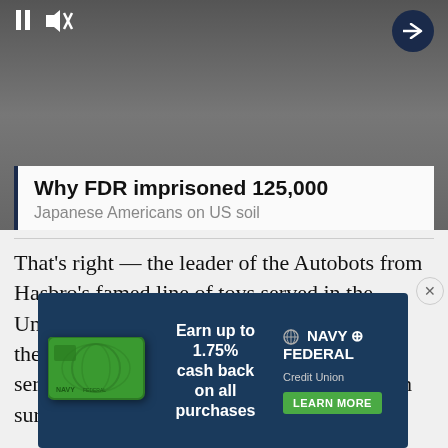[Figure (screenshot): Video thumbnail showing black-and-white historical photograph of people, with video playback controls (pause and mute icons) visible in top-left and a dark navy arrow button in top-right.]
Why FDR imprisoned 125,000
Japanese Americans on US soil
That's right — the leader of the Autobots from Hasbro's famed line of toys served in the United States Army National Guard. During the '80s, when the Transformers animated series and toys were very much in vogue, I'm sure a lot of kids out there felt like
[Figure (infographic): Navy Federal Credit Union advertisement banner. Dark blue background with green credit card image on left side. Text reads: Earn up to 1.75% cash back on all purchases. Navy Federal Credit Union logo on right with LEARN MORE green button.]